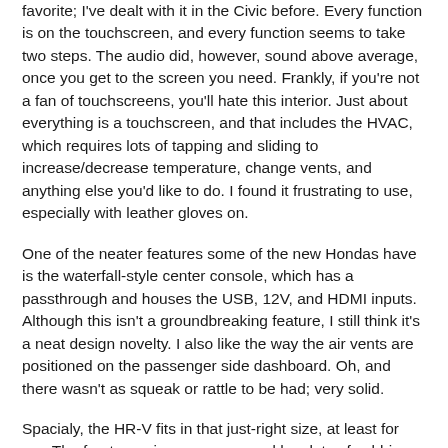favorite; I've dealt with it in the Civic before. Every function is on the touchscreen, and every function seems to take two steps. The audio did, however, sound above average, once you get to the screen you need. Frankly, if you're not a fan of touchscreens, you'll hate this interior. Just about everything is a touchscreen, and that includes the HVAC, which requires lots of tapping and sliding to increase/decrease temperature, change vents, and anything else you'd like to do. I found it frustrating to use, especially with leather gloves on.
One of the neater features some of the new Hondas have is the waterfall-style center console, which has a passthrough and houses the USB, 12V, and HDMI inputs. Although this isn't a groundbreaking feature, I still think it's a neat design novelty. I also like the way the air vents are positioned on the passenger side dashboard. Oh, and there wasn't as squeak or rattle to be had; very solid.
Spacialy, the HR-V fits in that just-right size, at least for me. The front area is very roomy and has lots of cubbies and places to put things. In the rear seat, legroom is OK,